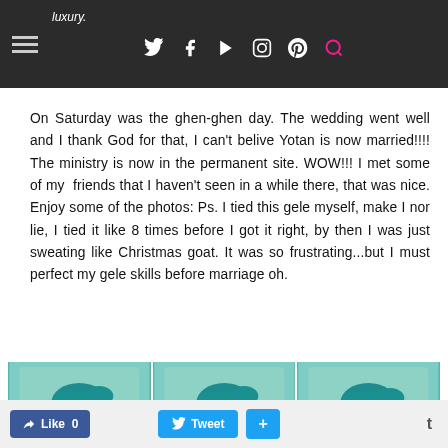luxury.
On Saturday was the ghen-ghen day. The wedding went well and I thank God for that, I can't belive Yotan is now married!!!! The ministry is now in the permanent site. WOW!!! I met some of my friends that I haven't seen in a while there, that was nice. Enjoy some of the photos: Ps. I tied this gele myself, make I nor lie, I tied it like 8 times before I got it right, by then I was just sweating like Christmas goat. It was so frustrating...but I must perfect my gele skills before marriage oh.
[Figure (photo): Three side-by-side photos of a woman wearing a teal/blue gele headwrap and light blue outfit with pearl necklace, smiling]
Like 0   Tweet   +   t